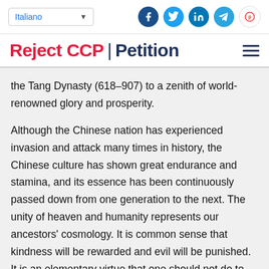Italiano | [social share icons: Facebook, Twitter, LinkedIn, Telegram, other]
Reject CCP | Petition
the Tang Dynasty (618–907) to a zenith of world-renowned glory and prosperity.
Although the Chinese nation has experienced invasion and attack many times in history, the Chinese culture has shown great endurance and stamina, and its essence has been continuously passed down from one generation to the next. The unity of heaven and humanity represents our ancestors' cosmology. It is common sense that kindness will be rewarded and evil will be punished. It is an elementary virtue that one should not do to